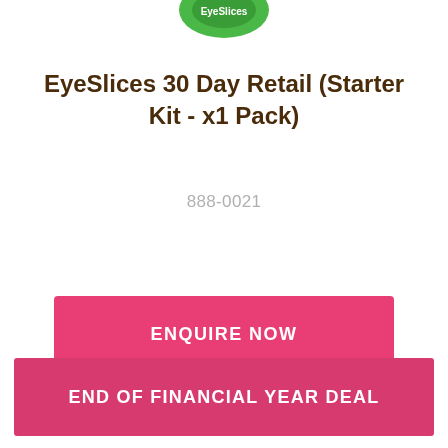[Figure (photo): Partial view of EyeSlices product packaging (green circular container) cropped at top of page]
EyeSlices 30 Day Retail (Starter Kit - x1 Pack)
888-0021
ENQUIRE NOW
END OF FINANCIAL YEAR DEAL